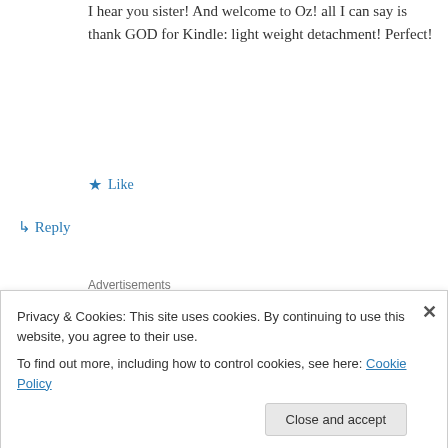I hear you sister! And welcome to Oz! all I can say is thank GOD for Kindle: light weight detachment! Perfect!
★ Like
↳ Reply
Advertisements
[Figure (logo): WordPress logo on beige advertisement box with text: Professionally designed sites in less than a week]
justdoyoga on July 30, 2012 at 12:26 pm
Privacy & Cookies: This site uses cookies. By continuing to use this website, you agree to their use. To find out more, including how to control cookies, see here: Cookie Policy
Close and accept